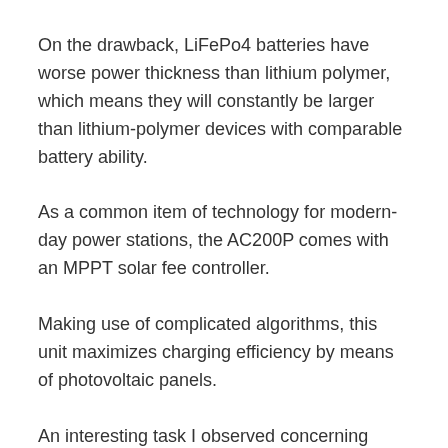On the drawback, LiFePo4 batteries have worse power thickness than lithium polymer, which means they will constantly be larger than lithium-polymer devices with comparable battery ability.
As a common item of technology for modern-day power stations, the AC200P comes with an MPPT solar fee controller.
Making use of complicated algorithms, this unit maximizes charging efficiency by means of photovoltaic panels.
An interesting task I observed concerning solar charging: Even if the power plant is shut off, it